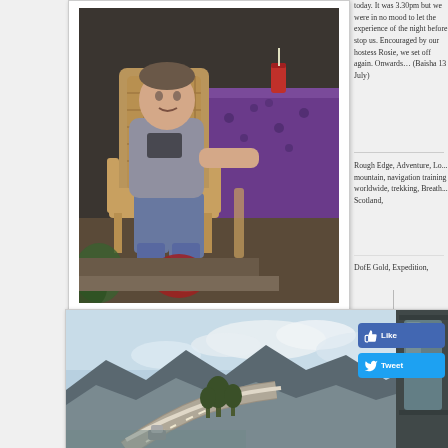[Figure (photo): Man sitting in a wicker chair outdoors, wearing a grey t-shirt and jeans, with hiking boots and a backpack on the ground in front of him. Purple tablecloth and a can of drink visible in the background.]
today. It was 3.30pm but we were in no mood to let the experience of the night before stop us. Encouraged by our hostess Rosie, we set off again. Onwards… (Baisha 13 July)
Rough Edge, Adventure, Lo... mountain, navigation training worldwide, trekking, Breath... Scotland,
DofE Gold, Expedition,
[Figure (photo): Mountain road landscape viewed from inside a vehicle, showing winding road, trees, mountains and clouds in the background.]
[Figure (screenshot): Facebook Like button (blue)]
[Figure (screenshot): Twitter Tweet button (blue)]